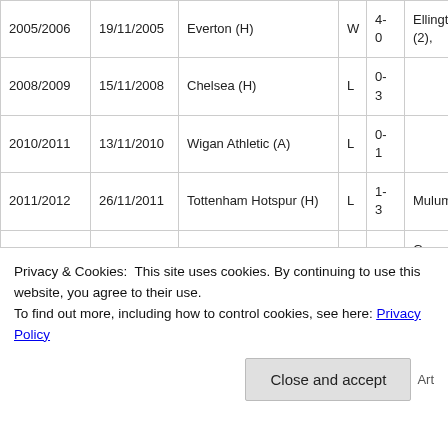| Season | Date | Opponent | Result | Score | Scorers |
| --- | --- | --- | --- | --- | --- |
| 2005/2006 | 19/11/2005 | Everton (H) | W | 4-0 | Ellington (2),... |
| 2008/2009 | 15/11/2008 | Chelsea (H) | L | 0-3 |  |
| 2010/2011 | 13/11/2010 | Wigan Athletic (A) | L | 0-1 |  |
| 2011/2012 | 26/11/2011 | Tottenham Hotspur (H) | L | 1-3 | Mulumbu |
| 2012/2013 | 25/11/2012 | Sunderland (A) | W | 4-2 | Gera, Long, L... (o.g.) |
| 2013/2014 | 30/11/2013 | Newcastle United (A) | L | 1- | Brunt |
| 2016/2017 | 26/11/2016 | Hull City (A) |  |  |  |
Privacy & Cookies: This site uses cookies. By continuing to use this website, you agree to their use.
To find out more, including how to control cookies, see here: Privacy Policy